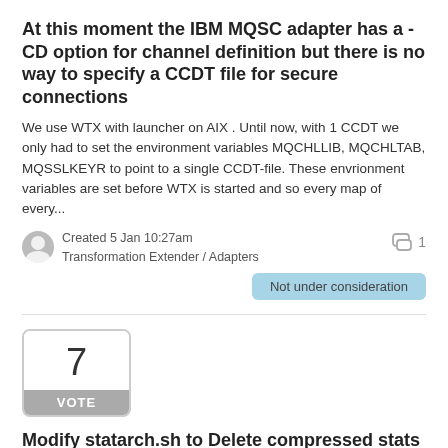At this moment the IBM MQSC adapter has a -CD option for channel definition but there is no way to specify a CCDT file for secure connections
We use WTX with launcher on AIX . Until now, with 1 CCDT we only had to set the environment variables MQCHLLIB, MQCHLTAB, MQSSLKEYR to point to a single CCDT-file. These envrionment variables are set before WTX is started and so every map of every...
Created 5 Jan 10:27am
Transformation Extender / Adapters
1
Not under consideration
7
VOTE
Modify statarch.sh to Delete compressed stats files after "x" amount of days
Can code be added to the statarch.sh script so that after "x" amount of days the compressed stats files are purged/deleted?